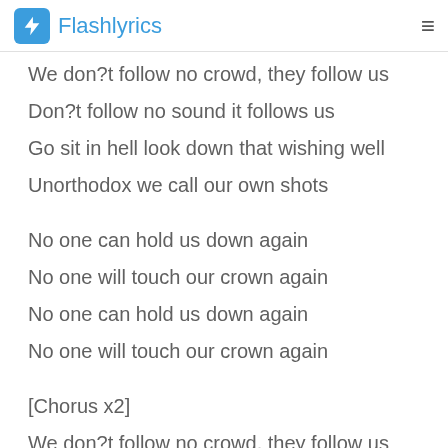Flashlyrics
We don?t follow no crowd, they follow us
Don?t follow no sound it follows us
Go sit in hell look down that wishing well
Unorthodox we call our own shots
No one can hold us down again
No one will touch our crown again
No one can hold us down again
No one will touch our crown again
[Chorus x2]
We don?t follow no crowd, they follow us